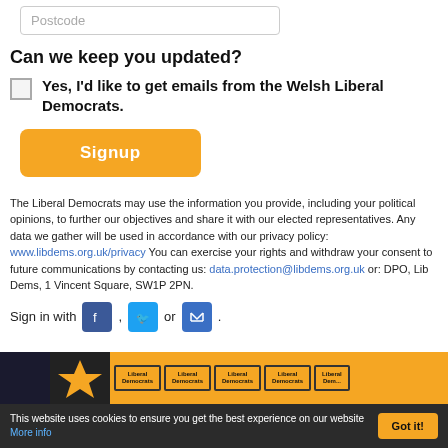Postcode
Can we keep you updated?
Yes, I'd like to get emails from the Welsh Liberal Democrats.
Signup
The Liberal Democrats may use the information you provide, including your political opinions, to further our objectives and share it with our elected representatives. Any data we gather will be used in accordance with our privacy policy: www.libdems.org.uk/privacy You can exercise your rights and withdraw your consent to future communications by contacting us: data.protection@libdems.org.uk or: DPO, Lib Dems, 1 Vincent Square, SW1P 2PN.
Sign in with , or .
[Figure (photo): Banner with Liberal Democrats orange signs/logos]
This website uses cookies to ensure you get the best experience on our website More info